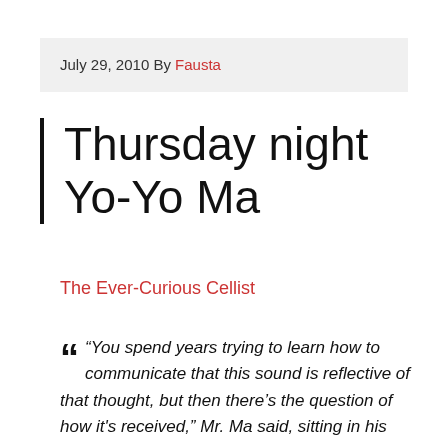July 29, 2010 By Fausta
Thursday night Yo-Yo Ma
The Ever-Curious Cellist
“You spend years trying to learn how to communicate that this sound is reflective of that thought, but then there’s the question of how it's received,” Mr. Ma said, sitting in his